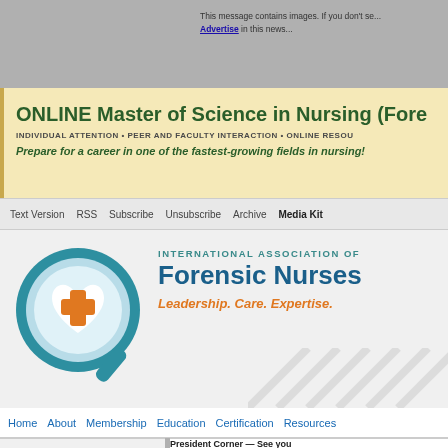This message contains images. If you don't se... Advertise in this news...
[Figure (screenshot): Ad banner for ONLINE Master of Science in Nursing (Forensic) with yellow background, green bold title, subtext about individual attention, peer and faculty interaction, online resources, and italic tagline about career in fastest-growing fields in nursing.]
Text Version  RSS  Subscribe  Unsubscribe  Archive  Media Kit
[Figure (logo): International Association of Forensic Nurses logo with magnifying glass containing a heart and medical cross, blue and orange color scheme, tagline: Leadership. Care. Expertise.]
Home  About  Membership  Education  Certification  Resources
President Corner — See you
Sheila Early, RN BScN